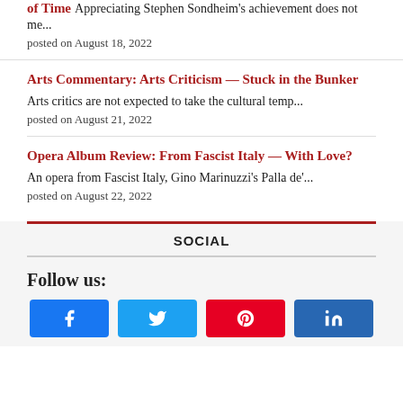of Time Appreciating Stephen Sondheim's achievement does not me...
posted on August 18, 2022
Arts Commentary: Arts Criticism — Stuck in the Bunker
Arts critics are not expected to take the cultural temp...
posted on August 21, 2022
Opera Album Review: From Fascist Italy — With Love?
An opera from Fascist Italy, Gino Marinuzzi's Palla de'...
posted on August 22, 2022
SOCIAL
Follow us: